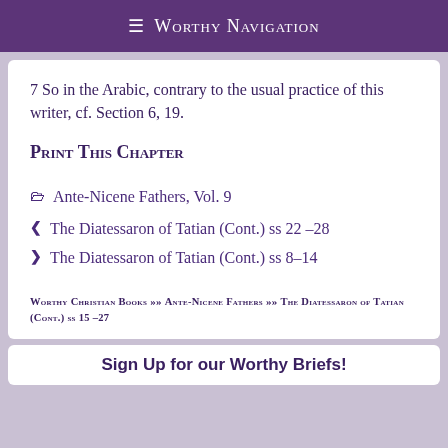≡ Worthy Navigation
7 So in the Arabic, contrary to the usual practice of this writer, cf. Section 6, 19.
Print This Chapter
Ante-Nicene Fathers, Vol. 9
The Diatessaron of Tatian (Cont.) ss 22 –28
The Diatessaron of Tatian (Cont.) ss 8–14
Worthy Christian Books >> Ante-Nicene Fathers >> The Diatessaron of Tatian (Cont.) ss 15 –27
Sign Up for our Worthy Briefs!